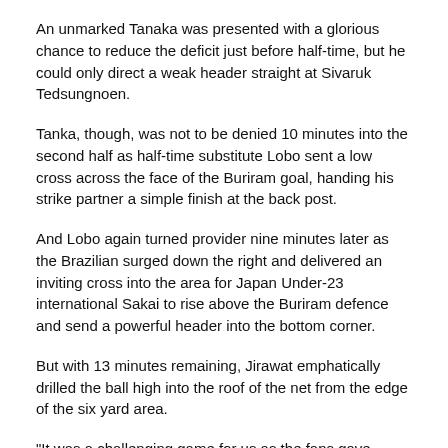An unmarked Tanaka was presented with a glorious chance to reduce the deficit just before half-time, but he could only direct a weak header straight at Sivaruk Tedsungnoen.
Tanka, though, was not to be denied 10 minutes into the second half as half-time substitute Lobo sent a low cross across the face of the Buriram goal, handing his strike partner a simple finish at the back post.
And Lobo again turned provider nine minutes later as the Brazilian surged down the right and delivered an inviting cross into the area for Japan Under-23 international Sakai to rise above the Buriram defence and send a powerful header into the bottom corner.
But with 13 minutes remaining, Jirawat emphatically drilled the ball high into the roof of the net from the edge of the six yard area.
"It was a challenging game for us as the fans gave Buriram their full support," said Kashiwa coach Nelsinho Baptista.
"At half-time we changed our strategy to a diamond formation and we succeeded in catching up, but it was not enough in the end."